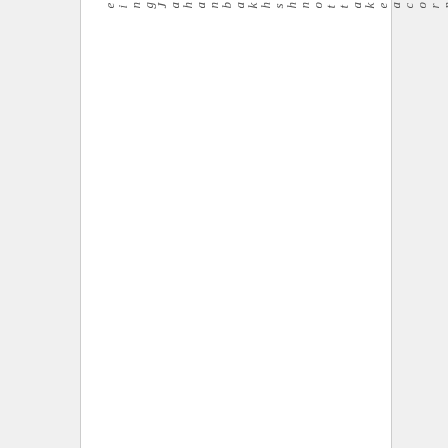eingJahanbakhshnottakeacornerp